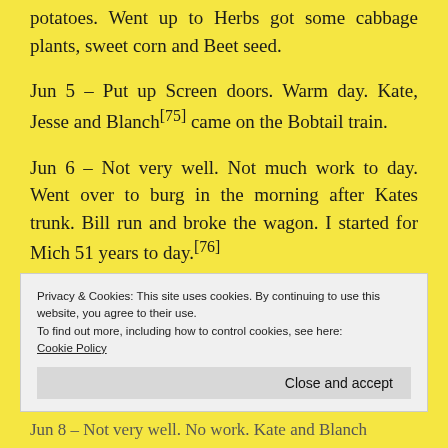potatoes. Went up to Herbs got some cabbage plants, sweet corn and Beet seed.
Jun 5 – Put up Screen doors. Warm day. Kate, Jesse and Blanch[75] came on the Bobtail train.
Jun 6 – Not very well. Not much work to day. Went over to burg in the morning after Kates trunk. Bill run and broke the wagon. I started for Mich 51 years to day.[76]
Privacy & Cookies: This site uses cookies. By continuing to use this website, you agree to their use.
To find out more, including how to control cookies, see here: Cookie Policy
Jun 8 – Not very well. No work. Kate and Blanch